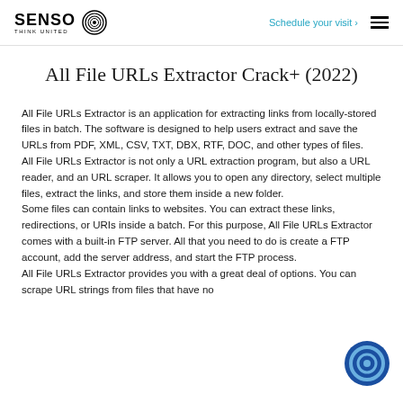SENSO THINK UNITED | Schedule your visit >
All File URLs Extractor Crack+ (2022)
All File URLs Extractor is an application for extracting links from locally-stored files in batch. The software is designed to help users extract and save the URLs from PDF, XML, CSV, TXT, DBX, RTF, DOC, and other types of files.
All File URLs Extractor is not only a URL extraction program, but also a URL reader, and an URL scraper. It allows you to open any directory, select multiple files, extract the links, and store them inside a new folder.
Some files can contain links to websites. You can extract these links, redirections, or URIs inside a batch. For this purpose, All File URLs Extractor comes with a built-in FTP server. All that you need to do is create a FTP account, add the server address, and start the FTP process.
All File URLs Extractor provides you with a great deal of options. You can scrape URL strings from files that have no